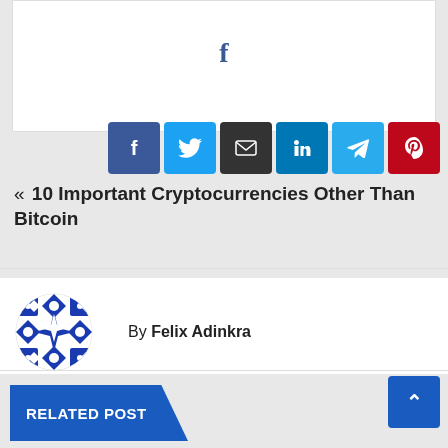[Figure (illustration): Partial top card with blue Facebook icon centered]
[Figure (infographic): Row of social share buttons: Facebook (blue), Twitter (light blue), Email (dark gray), LinkedIn (blue), Telegram (teal), Pinterest (red)]
« 10 Important Cryptocurrencies Other Than Bitcoin
[Figure (illustration): Circular avatar with blue and white geometric Adinkra pattern]
By Felix Adinkra
RELATED POST